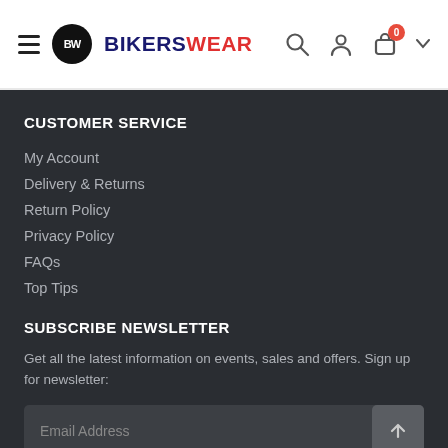BW BIKERS WEAR — navigation header with hamburger menu, logo, search, account, and cart icons
CUSTOMER SERVICE
My Account
Delivery & Returns
Return Policy
Privacy Policy
FAQs
Top Tips
SUBSCRIBE NEWSLETTER
Get all the latest information on events, sales and offers. Sign up for newsletter:
Email Address